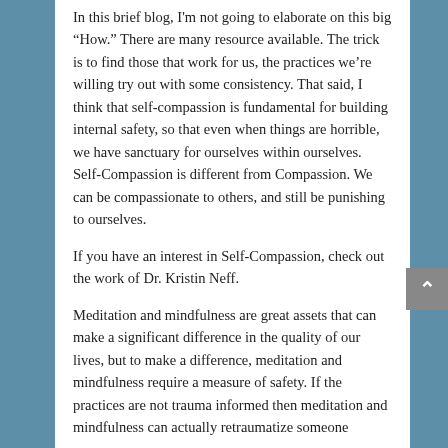In this brief blog, I'm not going to elaborate on this big “How.” There are many resource available. The trick is to find those that work for us, the practices we’re willing try out with some consistency. That said, I think that self-compassion is fundamental for building internal safety, so that even when things are horrible, we have sanctuary for ourselves within ourselves. Self-Compassion is different from Compassion. We can be compassionate to others, and still be punishing to ourselves.
If you have an interest in Self-Compassion, check out the work of Dr. Kristin Neff.
Meditation and mindfulness are great assets that can make a significant difference in the quality of our lives, but to make a difference, meditation and mindfulness require a measure of safety. If the practices are not trauma informed then meditation and mindfulness can actually retraumatize someone